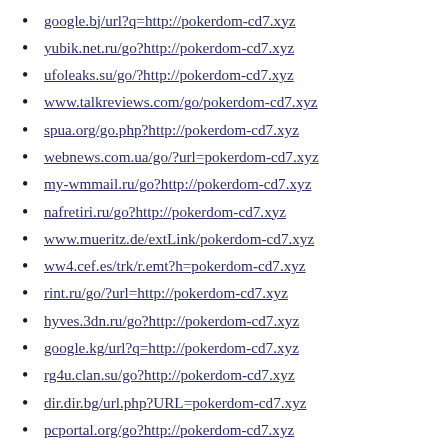google.bj/url?q=http://pokerdom-cd7.xyz
yubik.net.ru/go?http://pokerdom-cd7.xyz
ufoleaks.su/go/?http://pokerdom-cd7.xyz
www.talkreviews.com/go/pokerdom-cd7.xyz
spua.org/go.php?http://pokerdom-cd7.xyz
webnews.com.ua/go/?url=pokerdom-cd7.xyz
my-wmmail.ru/go?http://pokerdom-cd7.xyz
nafretiri.ru/go?http://pokerdom-cd7.xyz
www.mueritz.de/extLink/pokerdom-cd7.xyz
ww4.cef.es/trk/r.emt?h=pokerdom-cd7.xyz
rint.ru/go/?url=http://pokerdom-cd7.xyz
hyves.3dn.ru/go?http://pokerdom-cd7.xyz
google.kg/url?q=http://pokerdom-cd7.xyz
rg4u.clan.su/go?http://pokerdom-cd7.xyz
dir.dir.bg/url.php?URL=pokerdom-cd7.xyz
pcportal.org/go?http://pokerdom-cd7.xyz
lyze.jp/jmp?url=http://pokerdom-cd7.xyz
teleprogi.ru/go?http://pokerdom-cd7.xyz
my.squirrly.co/go34692/pokerdom-cd7.xyz